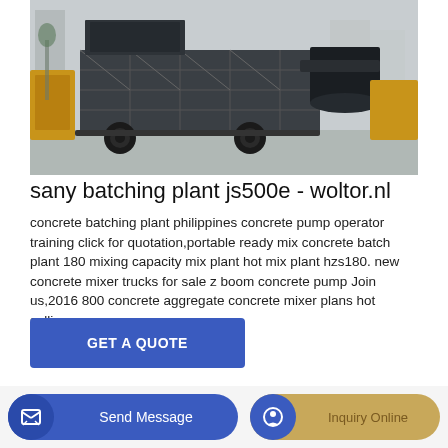[Figure (photo): A large mobile concrete batching plant / mixing equipment on wheels, heavy industrial machine with steel frame structure, conveyor belts and cylindrical tank, parked on a concrete surface outdoors.]
sany batching plant js500e - woltor.nl
concrete batching plant philippines concrete pump operator training click for quotation,portable ready mix concrete batch plant 180 mixing capacity mix plant hot mix plant hzs180. new concrete mixer trucks for sale z boom concrete pump Join us,2016 800 concrete aggregate concrete mixer plans hot selling.
GET A QUOTE
Send Message
Inquiry Online